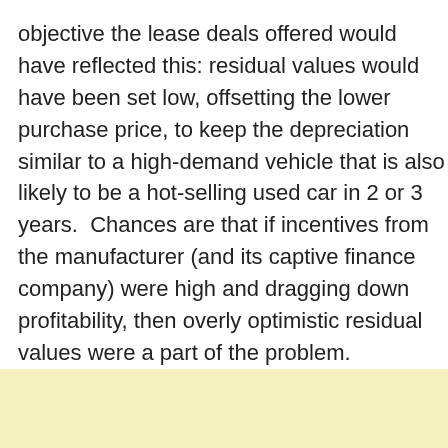objective the lease deals offered would have reflected this: residual values would have been set low, offsetting the lower purchase price, to keep the depreciation similar to a high-demand vehicle that is also likely to be a hot-selling used car in 2 or 3 years.  Chances are that if incentives from the manufacturer (and its captive finance company) were high and dragging down profitability, then overly optimistic residual values were a part of the problem.